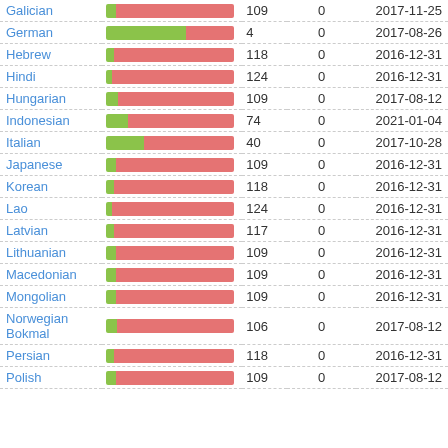| Language | Bar | Count | 0 | Date |
| --- | --- | --- | --- | --- |
| Galician | bar | 109 | 0 | 2017-11-25 |
| German | bar | 4 | 0 | 2017-08-26 |
| Hebrew | bar | 118 | 0 | 2016-12-31 |
| Hindi | bar | 124 | 0 | 2016-12-31 |
| Hungarian | bar | 109 | 0 | 2017-08-12 |
| Indonesian | bar | 74 | 0 | 2021-01-04 |
| Italian | bar | 40 | 0 | 2017-10-28 |
| Japanese | bar | 109 | 0 | 2016-12-31 |
| Korean | bar | 118 | 0 | 2016-12-31 |
| Lao | bar | 124 | 0 | 2016-12-31 |
| Latvian | bar | 117 | 0 | 2016-12-31 |
| Lithuanian | bar | 109 | 0 | 2016-12-31 |
| Macedonian | bar | 109 | 0 | 2016-12-31 |
| Mongolian | bar | 109 | 0 | 2016-12-31 |
| Norwegian Bokmal | bar | 106 | 0 | 2017-08-12 |
| Persian | bar | 118 | 0 | 2016-12-31 |
| Polish | bar | 109 | 0 | 2017-08-12 |